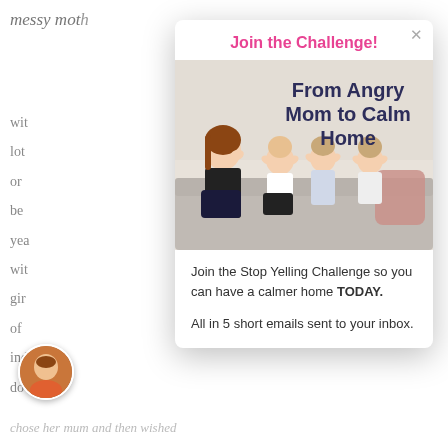[Figure (screenshot): Background website page partially visible showing 'messy moth...' logo, text lines, and avatar photo at bottom left]
Join the Challenge!
[Figure (photo): Photo of a mother and three children sitting on a couch, with text overlay 'From Angry Mom to Calm Home']
Join the Stop Yelling Challenge so you can have a calmer home TODAY.
All in 5 short emails sent to your inbox.